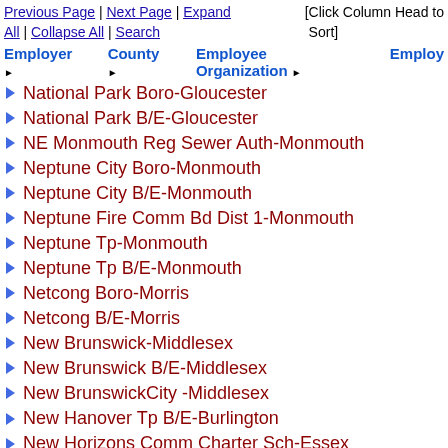Previous Page | Next Page | Expand All | Collapse All | Search    [Click Column Head to Sort]
| Employer | County | Employee Organization | Employ |
| --- | --- | --- | --- |
National Park Boro-Gloucester
National Park B/E-Gloucester
NE Monmouth Reg Sewer Auth-Monmouth
Neptune City Boro-Monmouth
Neptune City B/E-Monmouth
Neptune Fire Comm Bd Dist 1-Monmouth
Neptune Tp-Monmouth
Neptune Tp B/E-Monmouth
Netcong Boro-Morris
Netcong B/E-Morris
New Brunswick-Middlesex
New Brunswick B/E-Middlesex
New BrunswickCity -Middlesex
New Hanover Tp B/E-Burlington
New Horizons Comm Charter Sch-Essex
New Milford Boro-Bergen
New Milford B/E-Bergen
New Milford Library-Bergen